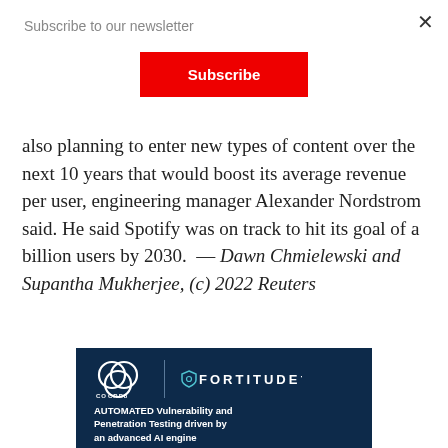Subscribe to our newsletter
Subscribe
also planning to enter new types of content over the next 10 years that would boost its average revenue per user, engineering manager Alexander Nordstrom said. He said Spotify was on track to hit its goal of a billion users by 2030. — Dawn Chmielewski and Supantha Mukherjee, (c) 2022 Reuters
[Figure (logo): Advertisement banner for CO CRE8 Technology Solutions and FORTITUDE with text: AUTOMATED Vulnerability and Penetration Testing driven by an advanced AI engine]